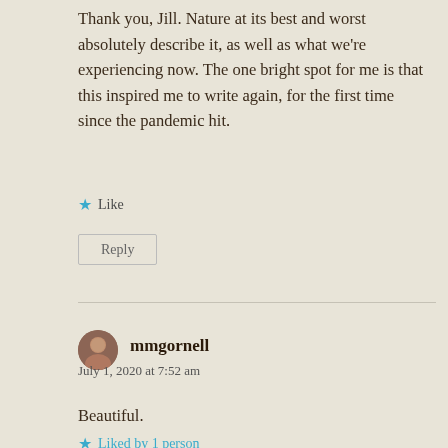Thank you, Jill. Nature at its best and worst absolutely describe it, as well as what we're experiencing now. The one bright spot for me is that this inspired me to write again, for the first time since the pandemic hit.
★ Like
Reply
mmgornell
July 1, 2020 at 7:52 am
Beautiful.
★ Liked by 1 person